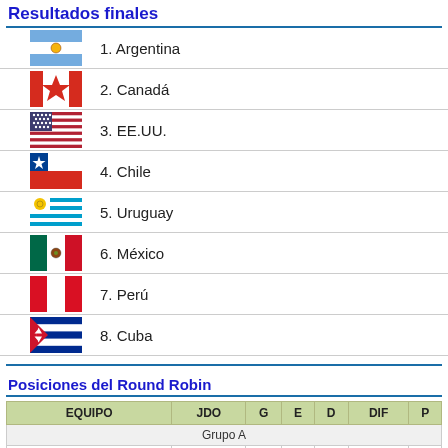Resultados finales
1. Argentina
2. Canadá
3. EE.UU.
4. Chile
5. Uruguay
6. México
7. Perú
8. Cuba
Posiciones del Round Robin
| EQUIPO | JDO | G | E | D | DIF | P |
| --- | --- | --- | --- | --- | --- | --- |
| Grupo A |  |  |  |  |  |  |
| ARG |  |  |  |  |  |  |